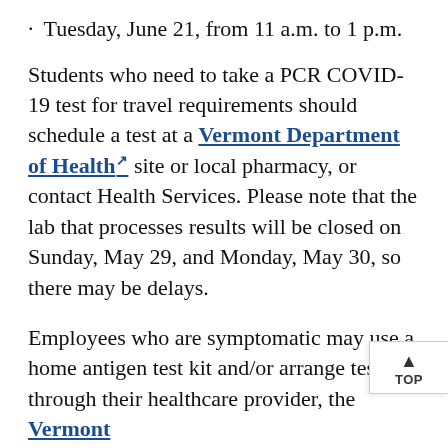Tuesday, June 21, from 11 a.m. to 1 p.m.
Students who need to take a PCR COVID-19 test for travel requirements should schedule a test at a Vermont Department of Health site or local pharmacy, or contact Health Services. Please note that the lab that processes results will be closed on Sunday, May 29, and Monday, May 30, so there may be delays.
Employees who are symptomatic may use a home antigen test kit and/or arrange testing through their healthcare provider, the Vermont Department of Health, or a local pharm See also COVID-19 Testing and Reporting